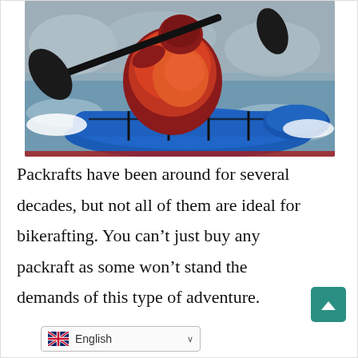[Figure (photo): A person in a red/orange jacket paddling a blue packraft through white water rapids, with a black paddle and gear strapped to the raft.]
Packrafts have been around for several decades, but not all of them are ideal for bikerafting. You can't just buy any packraft as some won't stand the demands of this type of adventure.